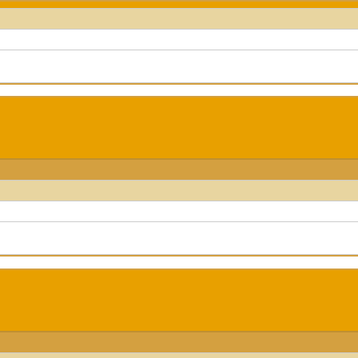| # | Time | Memory | Function |
| --- | --- | --- | --- |
| 1 | 0.0002 | 225000 | {main}( ) |
| 2 | 0.0055 | 273056 | include( '/home/users/2/allnavi/web/english/php/info_d
) |
Notice: Use of undefined constant ac - /home/users/2/allnavi/web/english/php/info_d
| # | Time | Memory | Function |
| --- | --- | --- | --- |
| 1 | 0.0002 | 225000 | {main}( ) |
| 2 | 0.0055 | 273056 | include( '/home/users/2/allnavi/web/english/php/info_d
) |
Notice: Use of undefined constant po - /home/users/2/allnavi/web/english/php/info_d
| # | Time | Memory | Function |
| --- | --- | --- | --- |
| 1 | 0.0002 | 225000 | {main}( ) |
| 2 | 0.0055 | 273056 | include( '/home/users/2/allnavi/web/english/php/info_d
) |